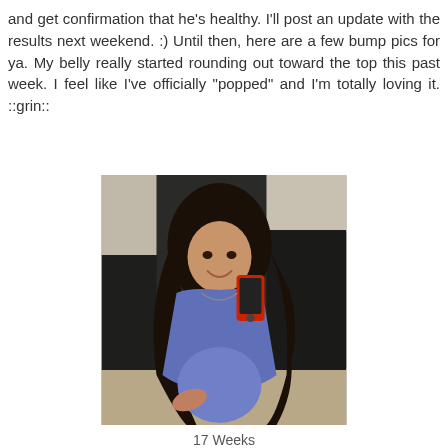and get confirmation that he's healthy. I'll post an update with the results next weekend. :) Until then, here are a few bump pics for ya. My belly really started rounding out toward the top this past week. I feel like I've officially "popped" and I'm totally loving it. ::grin::
[Figure (photo): A pregnant woman in a blue t-shirt taking a mirror selfie with a red phone, showing her baby bump at 17 weeks. She has long dark hair and is smiling. The background shows dark walls.]
17 Weeks